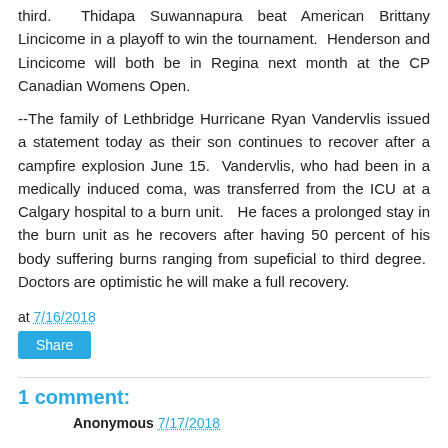third.  Thidapa Suwannapura beat American Brittany Lincicome in a playoff to win the tournament.  Henderson and Lincicome will both be in Regina next month at the CP Canadian Womens Open.
--The family of Lethbridge Hurricane Ryan Vandervlis issued a statement today as their son continues to recover after a campfire explosion June 15.  Vandervlis, who had been in a medically induced coma, was transferred from the ICU at a Calgary hospital to a burn unit.   He faces a prolonged stay in the burn unit as he recovers after having 50 percent of his body suffering burns ranging from supeficial to third degree.  Doctors are optimistic he will make a full recovery.
at 7/16/2018
Share
1 comment:
Anonymous 7/17/2018